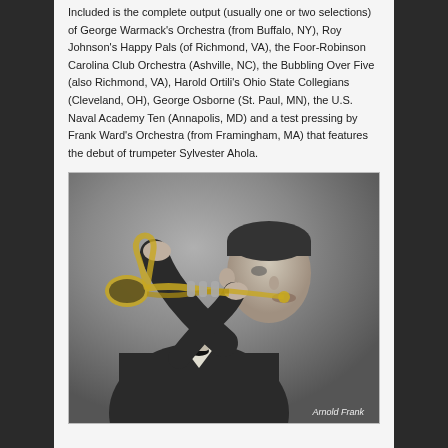Included is the complete output (usually one or two selections) of George Warmack's Orchestra (from Buffalo, NY), Roy Johnson's Happy Pals (of Richmond, VA), the Foor-Robinson Carolina Club Orchestra (Ashville, NC), the Bubbling Over Five (also Richmond, VA), Harold Ortili's Ohio State Collegians (Cleveland, OH), George Osborne (St. Paul, MN), the U.S. Naval Academy Ten (Annapolis, MD) and a test pressing by Frank Ward's Orchestra (from Framingham, MA) that features the debut of trumpeter Sylvester Ahola.
[Figure (photo): Black and white photograph of Arnold Frank, a man in a suit playing a trumpet, facing right in profile]
Arnold Frank